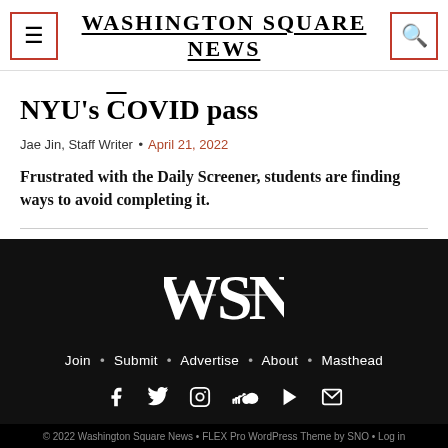Washington Square News
NYU's COVID pass
Jae Jin, Staff Writer • April 21, 2022
Frustrated with the Daily Screener, students are finding ways to avoid completing it.
[Figure (logo): WSN logo — stylized letters W, S, N intertwined in white on black background]
Join • Submit • Advertise • About • Masthead
© 2022 Washington Square News • FLEX Pro WordPress Theme by SNO • Log in